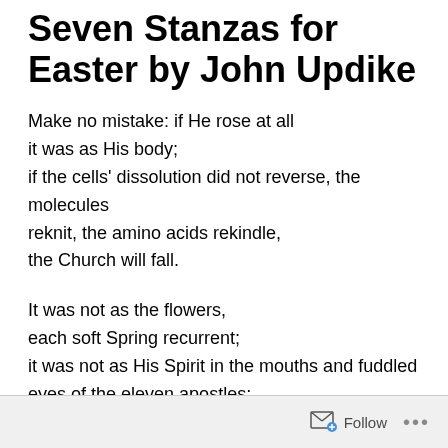Seven Stanzas for Easter by John Updike
Make no mistake: if He rose at all
it was as His body;
if the cells' dissolution did not reverse, the molecules
reknit, the amino acids rekindle,
the Church will fall.

It was not as the flowers,
each soft Spring recurrent;
it was not as His Spirit in the mouths and fuddled
eyes of the eleven apostles;
it was as His flesh: ours.

The same hinged thumbs and toes,
Follow